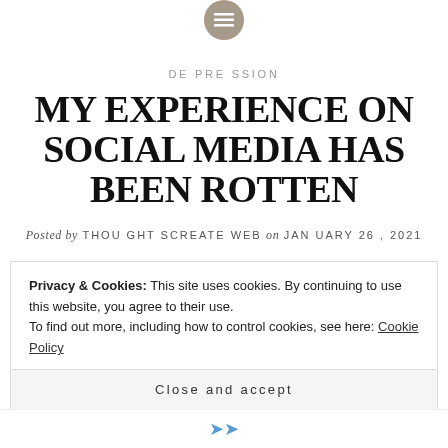[menu icon]
DEPRESSION
MY EXPERIENCE ON SOCIAL MEDIA HAS BEEN ROTTEN
Posted by THOUGHTSCREATEWEB on JANUARY 26, 2021
It has been two weeks since I logged into any social media account of mine and the freedom I feel is
Privacy & Cookies: This site uses cookies. By continuing to use this website, you agree to their use. To find out more, including how to control cookies, see here: Cookie Policy
Close and accept